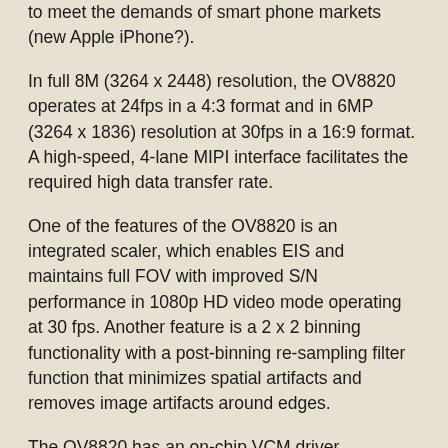to meet the demands of smart phone markets (new Apple iPhone?).
In full 8M (3264 x 2448) resolution, the OV8820 operates at 24fps in a 4:3 format and in 6MP (3264 x 1836) resolution at 30fps in a 16:9 format. A high-speed, 4-lane MIPI interface facilitates the required high data transfer rate.
One of the features of the OV8820 is an integrated scaler, which enables EIS and maintains full FOV with improved S/N performance in 1080p HD video mode operating at 30 fps. Another feature is a 2 x 2 binning functionality with a post-binning re-sampling filter function that minimizes spatial artifacts and removes image artifacts around edges.
The OV8820 has an on-chip VCM driver, temperature sensing, 256 bytes of OTP memory, lens shading correction and defect pixel correction. The OV8820 fits into the industry standard module size of 8.5 x 8.5 mm.
The OV8820 is available for sampling now and is expected to enter mass production in March 2011.